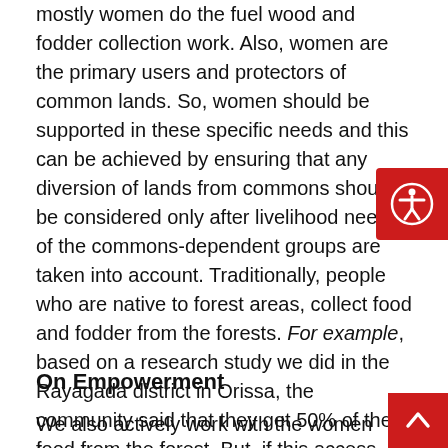mostly women do the fuel wood and fodder collection work. Also, women are the primary users and protectors of common lands. So, women should be supported in these specific needs and this can be achieved by ensuring that any diversion of lands from commons should be considered only after livelihood needs of the commons-dependent groups are taken into account. Traditionally, people who are native to forest areas, collect food and fodder from the forests. For example, based on a research study we did in the Rayagada district in Orissa, the community said that they get 50% of the food from the forest. But, if this access gets destroyed due to mining, they lose a huge amount of both food and fodder.
On Empowerment
We also actively work with the women farmers to